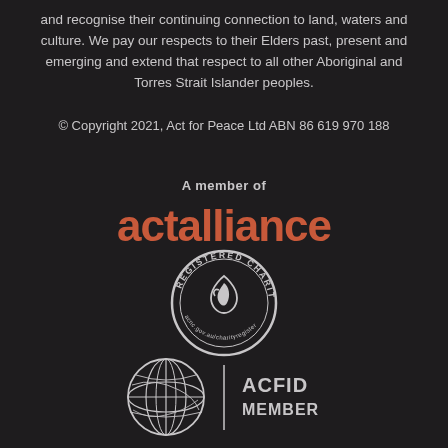and recognise their continuing connection to land, waters and culture. We pay our respects to their Elders past, present and emerging and extend that respect to all other Aboriginal and Torres Strait Islander peoples.
© Copyright 2021, Act for Peace Ltd ABN 86 619 970 188
A member of
[Figure (logo): ACT Alliance logo with text 'actalliance' in bold red/orange]
[Figure (logo): Registered Charity badge — circular seal with 'REGISTERED CHARITY' text and acnc.gov.au/charityregister URL]
[Figure (logo): ACFID Member logo — globe icon with vertical line separator and 'ACFID MEMBER' text]